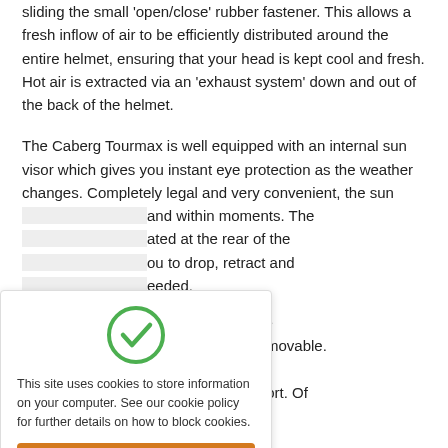sliding the small 'open/close' rubber fastener. This allows a fresh inflow of air to be efficiently distributed around the entire helmet, ensuring that your head is kept cool and fresh. Hot air is extracted via an 'exhaust system' down and out of the back of the helmet.
The Caberg Tourmax is well equipped with an internal sun visor which gives you instant eye protection as the weather changes. Completely legal and very convenient, the sun [partially obscured] and within moments. The [partially obscured] ated at the rear of the [partially obscured] ou to drop, retract and [partially obscured] eeded.
[partially obscured] your riding style, the [partially obscured] nce. The peak is removable. [partially obscured] stop draughts and [partially obscured] g overall rider comfort. Of
This site uses cookies to store information on your computer. See our cookie policy for further details on how to block cookies.